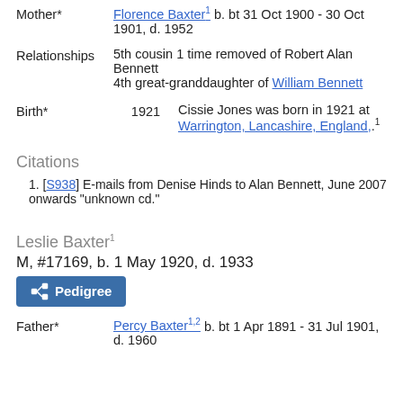Mother*   Florence Baxter¹ b. bt 31 Oct 1900 - 30 Oct 1901, d. 1952
Relationships   5th cousin 1 time removed of Robert Alan Bennett
4th great-granddaughter of William Bennett
Birth*   1921   Cissie Jones was born in 1921 at Warrington, Lancashire, England,.¹
Citations
1. [S938] E-mails from Denise Hinds to Alan Bennett, June 2007 onwards "unknown cd."
Leslie Baxter¹
M, #17169, b. 1 May 1920, d. 1933
Father*   Percy Baxter¹,² b. bt 1 Apr 1891 - 31 Jul 1901, d. 1960